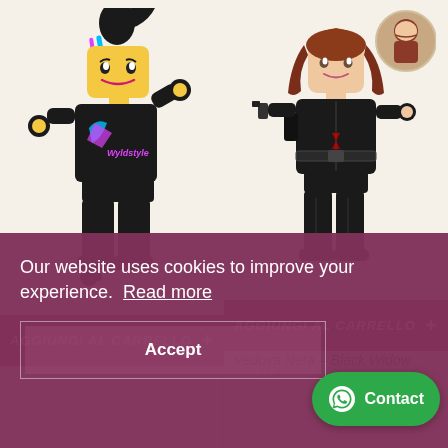[Figure (photo): LEGO Wyldstyle minifigure in black outfit with colorful graffiti design, black hair with colored streaks]
AGGIUNGI AL CARRELLO +
[Figure (photo): LEGO Black Widow minifigure in black suit with brown hair, holding weapon, with small circular portrait inset]
AGGIUNGI AL CARRELLO +
Vedova Nera - Black Widow
Our website uses cookies to improve your experience. Read more
Accept
Contact